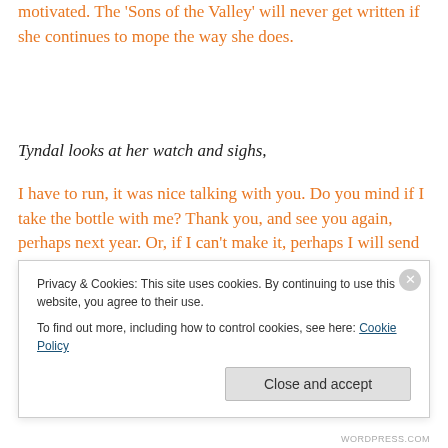motivated. The 'Sons of the Valley' will never get written if she continues to mope the way she does.
Tyndal looks at her watch and sighs,
I have to run, it was nice talking with you. Do you mind if I take the bottle with me? Thank you, and see you again, perhaps next year. Or, if I can't make it, perhaps I will send Lucifer... that should be lots of fun... black roses, dark
Privacy & Cookies: This site uses cookies. By continuing to use this website, you agree to their use.
To find out more, including how to control cookies, see here: Cookie Policy
Close and accept
WORDPRESS.COM